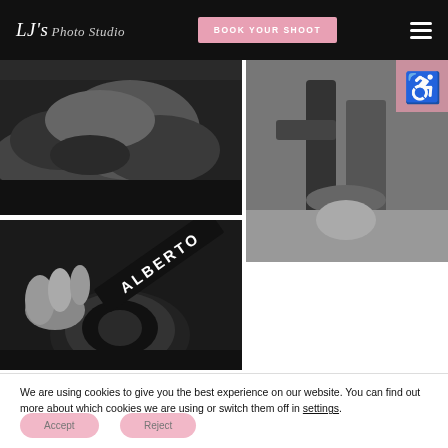LJ's Photo Studio — BOOK YOUR SHOOT
[Figure (photo): Black and white close-up photo of hands, top-left grid position]
[Figure (photo): Black and white close-up photo of legs/feet near gym equipment, top-right grid position, with pink accessibility icon badge]
[Figure (photo): Black and white photo of hands holding camera with 'ALBERTO' strap text visible, bottom-left grid position]
We are using cookies to give you the best experience on our website. You can find out more about which cookies we are using or switch them off in settings.
Accept
Reject